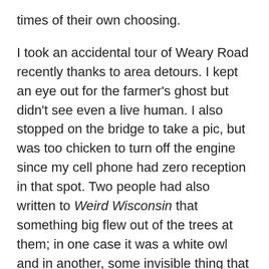times of their own choosing.
I took an accidental tour of Weary Road recently thanks to area detours. I kept an eye out for the farmer's ghost but didn't see even a live human. I also stopped on the bridge to take a pic, but was too chicken to turn off the engine since my cell phone had zero reception in that spot. Two people had also written to Weird Wisconsin that something big flew out of the trees at them; in one case it was a white owl and in another, some invisible thing that allegedly left long scratches on the eye-witness's arms as it fluttered by. The trees were eerily still during my drive-through. I kept thinking that anything could have been in the corn field, however, and indeed, the site is not many miles away from multiple past sightings of Bigfoot and dogman at Lima Center and Fulton.